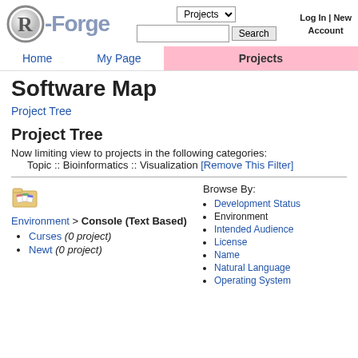[Figure (logo): R-Forge logo with circular R graphic and hyphenated Forge text]
Projects dropdown | Search box | Search button | Log In | New Account
Home | My Page | Projects
Software Map
Project Tree
Project Tree
Now limiting view to projects in the following categories:
        Topic :: Bioinformatics :: Visualization [Remove This Filter]
Environment > Console (Text Based)
Curses (0 project)
Newt (0 project)
Browse By:
Development Status
Environment
Intended Audience
License
Name
Natural Language
Operating System